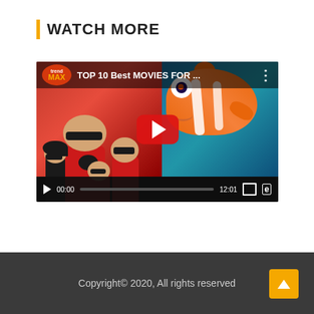WATCH MORE
[Figure (screenshot): YouTube video thumbnail showing a TrendMAX video titled 'TOP 10 Best MOVIES FOR ...' featuring animated characters from The Incredibles on the left (red background) and Nemo on the right (blue background), with a YouTube play button overlay and video controls bar showing 00:00 / 12:01]
Copyright© 2020, All rights reserved